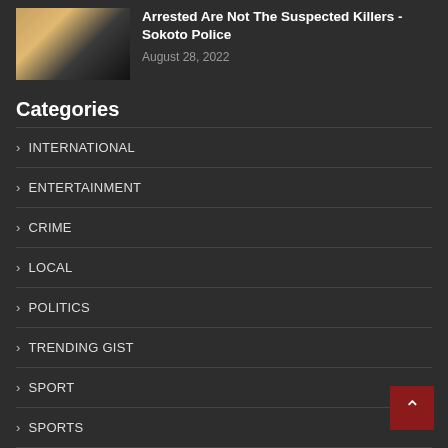[Figure (photo): Thumbnail photo of two people, one with lighter skin and one with darker skin, appears to be a news article thumbnail image.]
Arrested Are Not The Suspected Killers - Sokoto Police
August 28, 2022
Categories
INTERNATIONAL
ENTERTAINMENT
CRIME
LOCAL
POLITICS
TRENDING GIST
SPORT
SPORTS
HEALTH
EDUCATION